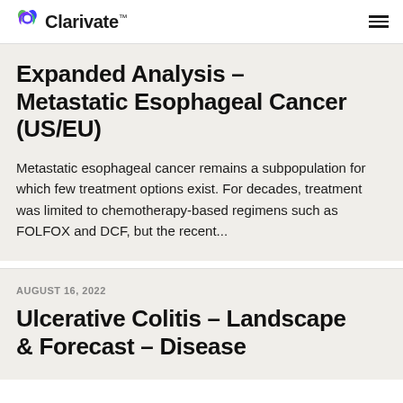Clarivate
Expanded Analysis – Metastatic Esophageal Cancer (US/EU)
Metastatic esophageal cancer remains a subpopulation for which few treatment options exist. For decades, treatment was limited to chemotherapy-based regimens such as FOLFOX and DCF, but the recent...
AUGUST 16, 2022
Ulcerative Colitis – Landscape & Forecast – Disease